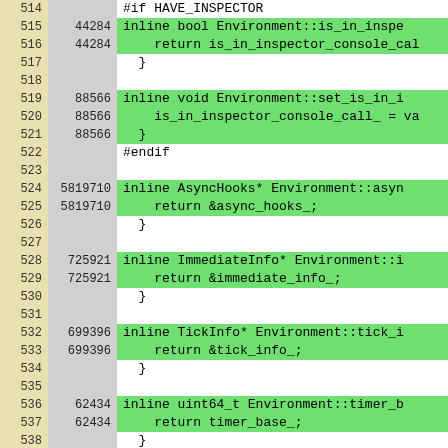[Figure (screenshot): Source code coverage view showing C++ inline function definitions for Node.js Environment class, lines 514-539, with line numbers, hit counts, and green highlighting for covered lines.]